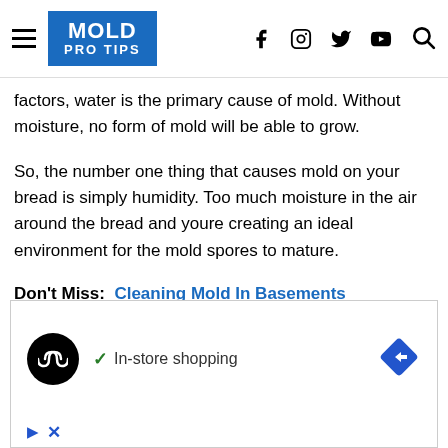MOLD PRO TIPS
factors, water is the primary cause of mold. Without moisture, no form of mold will be able to grow.
So, the number one thing that causes mold on your bread is simply humidity. Too much moisture in the air around the bread and youre creating an ideal environment for the mold spores to mature.
Don't Miss:  Cleaning Mold In Basements
[Figure (screenshot): Advertisement banner with black circular logo showing infinity-like symbol, checkmark with 'In-store shopping' text, and blue diamond arrow icon]